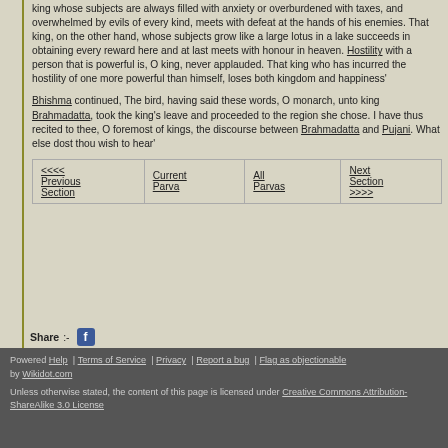king whose subjects are always filled with anxiety or overburdened with taxes, and overwhelmed by evils of every kind, meets with defeat at the hands of his enemies. That king, on the other hand, whose subjects grow like a large lotus in a lake succeeds in obtaining every reward here and at last meets with honour in heaven. Hostility with a person that is powerful is, O king, never applauded. That king who has incurred the hostility of one more powerful than himself, loses both kingdom and happiness'
Bhishma continued, The bird, having said these words, O monarch, unto king Brahmadatta, took the king's leave and proceeded to the region she chose. I have thus recited to thee, O foremost of kings, the discourse between Brahmadatta and Pujani. What else dost thou wish to hear'
| <<<< Previous Section | Current Parva | All Parvas | Next Section >>>> |
| --- | --- | --- | --- |
Share:-
Powered Help | Terms of Service | Privacy | Report a bug | Flag as objectionable by Wikidot.com
Unless otherwise stated, the content of this page is licensed under Creative Commons Attribution-ShareAlike 3.0 License